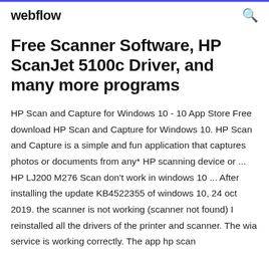webflow
Free Scanner Software, HP ScanJet 5100c Driver, and many more programs
HP Scan and Capture for Windows 10 - 10 App Store Free download HP Scan and Capture for Windows 10. HP Scan and Capture is a simple and fun application that captures photos or documents from any* HP scanning device or ... HP LJ200 M276 Scan don't work in windows 10 ... After installing the update KB4522355 of windows 10, 24 oct 2019. the scanner is not working (scanner not found) I reinstalled all the drivers of the printer and scanner. The wia service is working correctly. The app hp scan